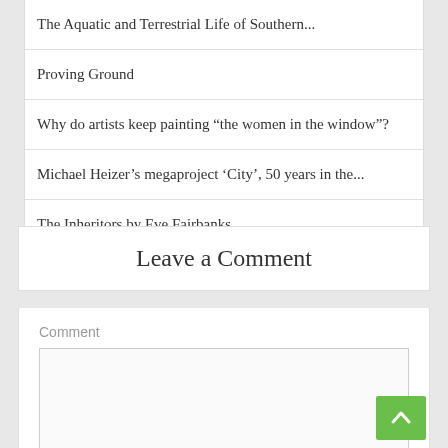The Aquatic and Terrestrial Life of Southern...
Proving Ground
Why do artists keep painting “the women in the window”?
Michael Heizer’s megaproject ‘City’, 50 years in the...
The Inheritors by Eve Fairbanks
Leave a Comment
Comment